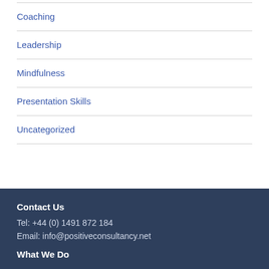Coaching
Leadership
Mindfulness
Presentation Skills
Uncategorized
Contact Us
Tel: +44 (0) 1491 872 184
Email: info@positiveconsultancy.net
What We Do